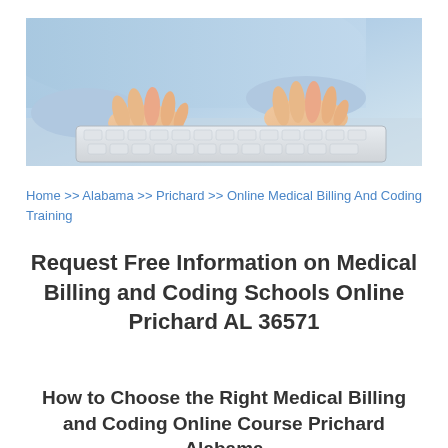[Figure (photo): Person in light blue shirt typing on a white keyboard, close-up of hands on keyboard]
Home >> Alabama >> Prichard >> Online Medical Billing And Coding Training
Request Free Information on Medical Billing and Coding Schools Online Prichard AL 36571
How to Choose the Right Medical Billing and Coding Online Course Prichard Alabama